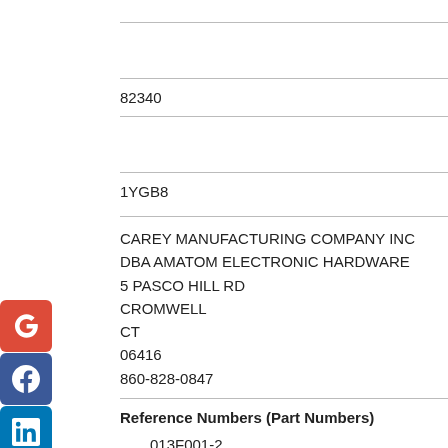82340
1YGB8
CAREY MANUFACTURING COMPANY INC
DBA AMATOM ELECTRONIC HARDWARE
5 PASCO HILL RD
CROMWELL
CT
06416
860-828-0847
Reference Numbers (Part Numbers)
013F001-2